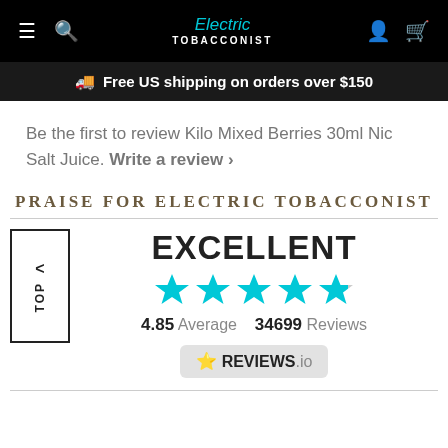Electric Tobacconist - navigation bar
Free US shipping on orders over $150
Be the first to review Kilo Mixed Berries 30ml Nic Salt Juice. Write a review ›
PRAISE FOR ELECTRIC TOBACCONIST
[Figure (infographic): Excellent rating display with 5 cyan stars, 4.85 average, 34699 reviews, Reviews.io badge, and back-to-top button]
EXCELLENT
4.85 Average   34699 Reviews